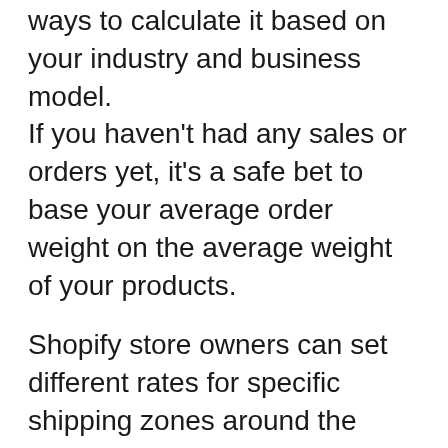ways to calculate it based on your industry and business model. If you haven't had any sales or orders yet, it's a safe bet to base your average order weight on the average weight of your products.
Shopify store owners can set different rates for specific shipping zones around the world based on the shipping methods their stores offer in those regions. In your Shopify Admin, click Settings and then Shipping to customize your shipping zone settings.
If you use Shopify Shipping in the US, Canada, or Australia, you'll also get access to real-time